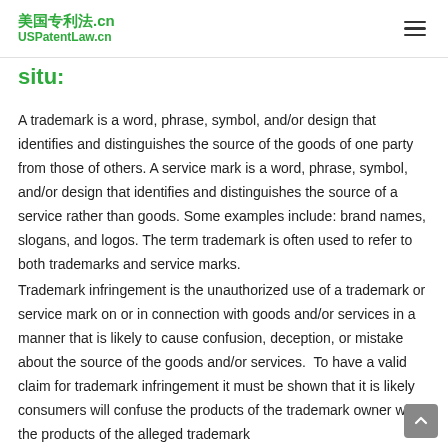美国专利法.cn USPatentLaw.cn
situ:
A trademark is a word, phrase, symbol, and/or design that identifies and distinguishes the source of the goods of one party from those of others. A service mark is a word, phrase, symbol, and/or design that identifies and distinguishes the source of a service rather than goods. Some examples include: brand names, slogans, and logos. The term trademark is often used to refer to both trademarks and service marks.
Trademark infringement is the unauthorized use of a trademark or service mark on or in connection with goods and/or services in a manner that is likely to cause confusion, deception, or mistake about the source of the goods and/or services. To have a valid claim for trademark infringement it must be shown that it is likely consumers will confuse the products of the trademark owner with the products of the alleged trademark